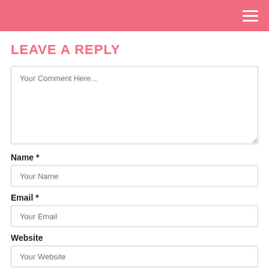LEAVE A REPLY
Your Comment Here...
Name *
Your Name
Email *
Your Email
Website
Your Website